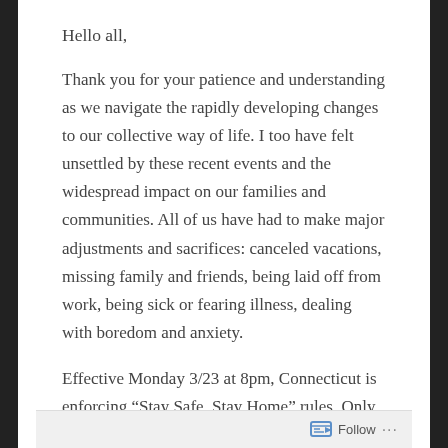Hello all,
Thank you for your patience and understanding as we navigate the rapidly developing changes to our collective way of life. I too have felt unsettled by these recent events and the widespread impact on our families and communities. All of us have had to make major adjustments and sacrifices: canceled vacations, missing family and friends, being laid off from work, being sick or fearing illness, dealing with boredom and anxiety.
Effective Monday 3/23 at 8pm, Connecticut is enforcing “Stay Safe, Stay Home” rules. Only absolutely necessary public facilities (grocery stores, pharmacies, gas stations, and the like) will be permitted to operate. Because telehealth is now available, we will not be able to
Follow